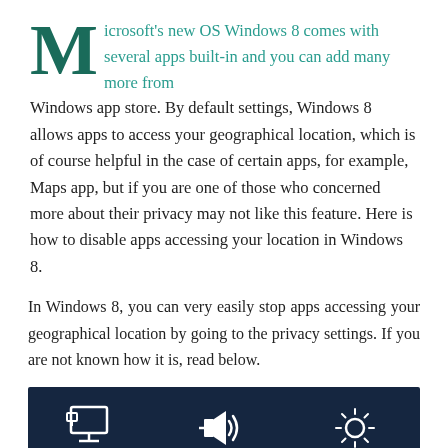Microsoft's new OS Windows 8 comes with several apps built-in and you can add many more from Windows app store. By default settings, Windows 8 allows apps to access your geographical location, which is of course helpful in the case of certain apps, for example, Maps app, but if you are one of those who concerned more about their privacy may not like this feature. Here is how to disable apps accessing your location in Windows 8.
In Windows 8, you can very easily stop apps accessing your geographical location by going to the privacy settings. If you are not known how it is, read below.
[Figure (screenshot): Windows 8 system tray screenshot showing three icons: Network, volume at 67, and Unavailable (brightness), all on a dark navy background.]